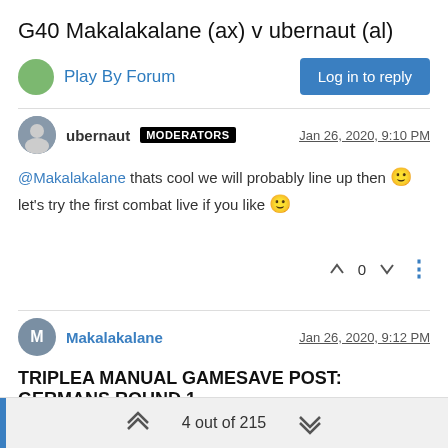G40 Makalakalane (ax) v ubernaut (al)
Play By Forum
Log in to reply
ubernaut MODERATORS Jan 26, 2020, 9:10 PM
@Makalakalane thats cool we will probably line up then 🙂 let's try the first combat live if you like 🙂
0
Makalakalane Jan 26, 2020, 9:12 PM
TRIPLEA MANUAL GAMESAVE POST: GERMANS ROUND 1
TripleA Manual Gamesave Post for game: World War II Global 1940 2nd Edition, version: 4.0
4 out of 215